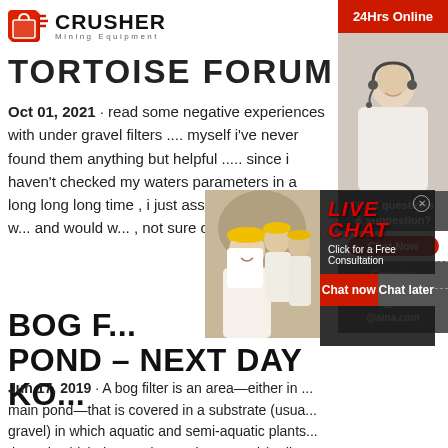[Figure (logo): Crusher Mining Equipment logo with red shopping bag icon and bold CRUSHER text]
TORTOISE FORUM
Oct 01, 2021 · read some negative experiences with under gravel filters .... myself i've never found them anything but helpful ..... since i haven't checked my waters parameters in a long long long time , i just assumed what i did w... and would w... , not sure of... under grave...
BOG F... POND – NEXT DAY KO...
Jun 17, 2019 · A bog filter is an area—either in ... main pond—that is covered in a substrate (usua... gravel) in which aquatic and semi-aquatic plants... through which the pond water is pumped (ordina... perforated manifold system of PVC piping). Idea... filter will grow beneficial bacteria in a more natu...
[Figure (screenshot): Live chat overlay popup with workers in hard hats, LIVE CHAT heading in red, Chat now and Chat later buttons]
[Figure (photo): Customer service representative with headset on right sidebar]
24Hrs Online
Need questions & suggestion?
Chat Now
Enquiry
limingjlmofen@sina.com